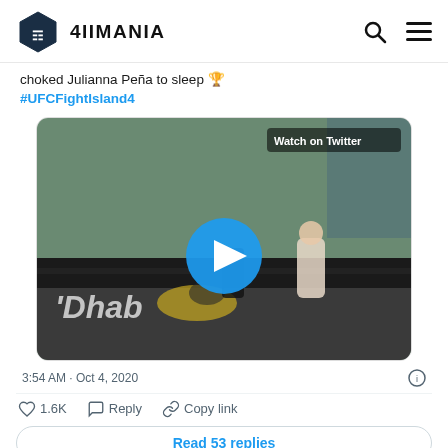4IIMANIA
choked Julianna Peña to sleep #UFCFightIsland4
[Figure (screenshot): Video embed showing UFC fight scene with a fighter standing and another on the ground. 'Watch on Twitter' label and play button overlay visible. Abu Dhabi branding on mat.]
3:54 AM · Oct 4, 2020
1.6K  Reply  Copy link
Read 53 replies
Yorgan De Castro has gone 1-1 in the UFC but